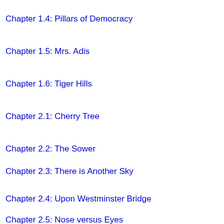Chapter 1.4: Pillars of Democracy
Chapter 1.5: Mrs. Adis
Chapter 1.6: Tiger Hills
Chapter 2.1: Cherry Tree
Chapter 2.2: The Sower
Chapter 2.3: There is Another Sky
Chapter 2.4: Upon Westminster Bridge
Chapter 2.5: Nose versus Eyes